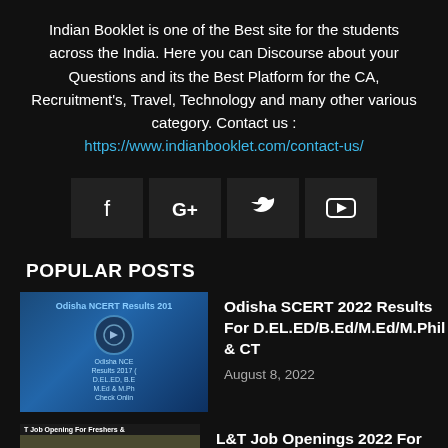Indian Booklet is one of the Best site for the students across the India. Here you can Discourse about your Questions and its the Best Platform for the CA, Recruitment's, Travel, Technology and many other various category. Contact us : https://www.indianbooklet.com/contact-us/
[Figure (other): Social media icons: Facebook (f), Google+ (G+), Twitter (bird), YouTube (play button), displayed in dark square boxes]
POPULAR POSTS
[Figure (photo): Thumbnail image for Odisha SCERT 2022 Results article showing text: Odisha NCERT Results 2017, D.EL.ED, B.E, M.Ed & M.Ph, Check Onlin]
Odisha SCERT 2022 Results For D.EL.ED/B.Ed/M.Ed/M.Phil & CT
August 8, 2022
[Figure (photo): Thumbnail image for L&T Job Opening article showing construction workers in yellow vests with L&T logo]
L&T Job Openings 2022 For Civil/Mech/Electrical Engg Jobs Apply Online
August 6, 2022
[Figure (photo): Thumbnail image for OU PGCET 2022 article partially visible]
OU PGCET 2022 3rd Counseling Results